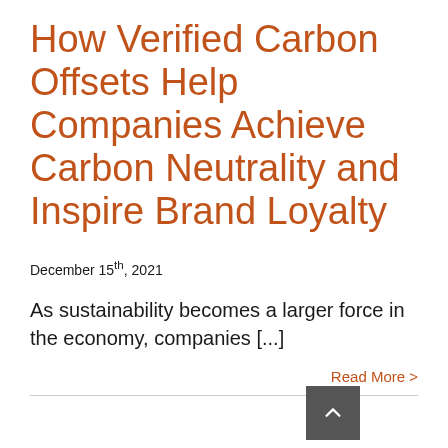How Verified Carbon Offsets Help Companies Achieve Carbon Neutrality and Inspire Brand Loyalty
December 15th, 2021
As sustainability becomes a larger force in the economy, companies [...]
Read More >